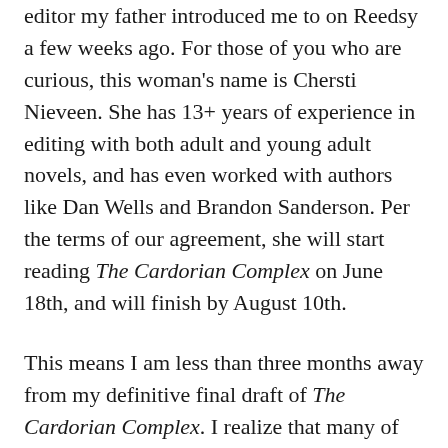editor my father introduced me to on Reedsy a few weeks ago. For those of you who are curious, this woman's name is Chersti Nieveen. She has 13+ years of experience in editing with both adult and young adult novels, and has even worked with authors like Dan Wells and Brandon Sanderson. Per the terms of our agreement, she will start reading The Cardorian Complex on June 18th, and will finish by August 10th.
This means I am less than three months away from my definitive final draft of The Cardorian Complex. I realize that many of you have heard from me that this book has been in its final draft for several months now, but recent events have urged me to seek out one final round of editing before I